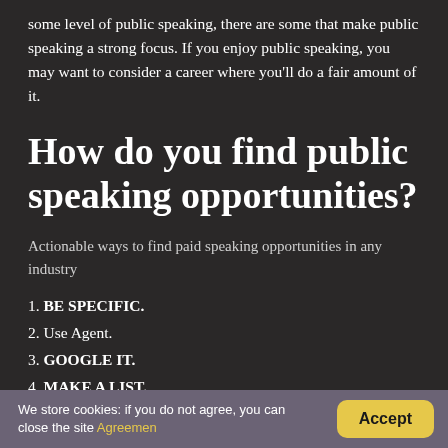some level of public speaking, there are some that make public speaking a strong focus. If you enjoy public speaking, you may want to consider a career where you'll do a fair amount of it.
How do you find public speaking opportunities?
Actionable ways to find paid speaking opportunities in any industry
1. BE SPECIFIC.
2. Use Agent.
3. GOOGLE IT.
4. MAKE A LIST.
We store cookies: if you do not agree, you can close the site Agreemen